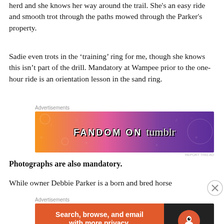herd and she knows her way around the trail. She's an easy ride and smooth trot through the paths mowed through the Parker's property.
Sadie even trots in the ‘training’ ring for me, though she knows this isn’t part of the drill. Mandatory at Wampee prior to the one-hour ride is an orientation lesson in the sand ring.
[Figure (other): Advertisement banner for Fandom on Tumblr with colorful gradient background]
Photographs are also mandatory.
While owner Debbie Parker is a born and bred horse
[Figure (other): Advertisement banner for DuckDuckGo: Search, browse, and email with more privacy. All in One Free App]